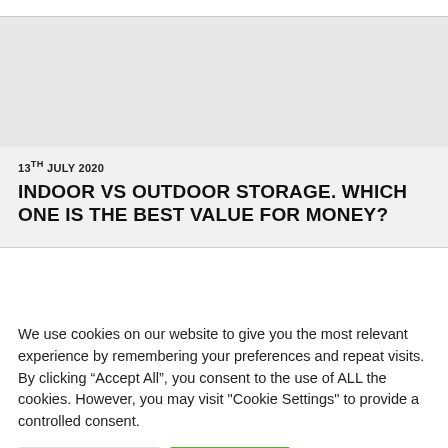13TH JULY 2020
INDOOR VS OUTDOOR STORAGE. WHICH ONE IS THE BEST VALUE FOR MONEY?
We use cookies on our website to give you the most relevant experience by remembering your preferences and repeat visits. By clicking “Accept All”, you consent to the use of ALL the cookies. However, you may visit "Cookie Settings" to provide a controlled consent.